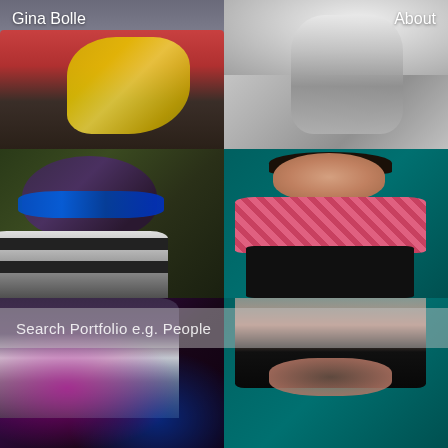Gina Bolle
About
[Figure (photo): Woman in yellow dress kneeling on floor next to a bed in a dimly lit room]
[Figure (photo): Black and white portrait of a person standing, back turned, looking over shoulder]
[Figure (photo): Person wearing a dark beanie and blue reflective sunglasses, surrounded by green foliage, wearing black and white striped shirt]
[Figure (photo): Woman with dark hair in a bun, smiling, wearing a pink Gucci patterned top, seated against a teal background]
[Figure (photo): Abstract colorful layered shot showing figure in black and white clothing with purple and pink color grading]
[Figure (photo): Lower body of the same seated woman against teal background, hands resting on lap, wearing a watch]
Search Portfolio e.g. People